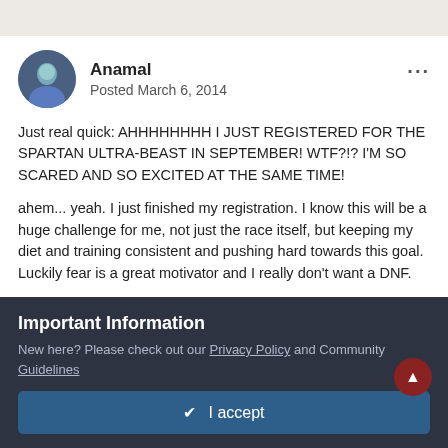[Figure (other): Gray top navigation bar at the top of the page]
[Figure (photo): Circular user avatar photo of a person outdoors, with blue/dark tones]
Anamal
Posted March 6, 2014
Just real quick: AHHHHHHHH I JUST REGISTERED FOR THE SPARTAN ULTRA-BEAST IN SEPTEMBER! WTF?!? I'M SO SCARED AND SO EXCITED AT THE SAME TIME!
ahem... yeah. I just finished my registration. I know this will be a huge challenge for me, not just the race itself, but keeping my diet and training consistent and pushing hard towards this goal. Luckily fear is a great motivator and I really don't want a DNF.
Important Information
New here? Please check out our Privacy Policy and Community Guidelines
✔  I accept